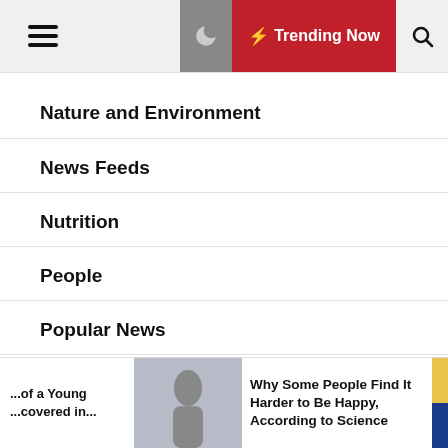Trending Now
Nature and Environment
News Feeds
Nutrition
People
Popular News
Psychology
Science
...of a Young ...covered in... Why Some People Find It Harder to Be Happy, According to Science